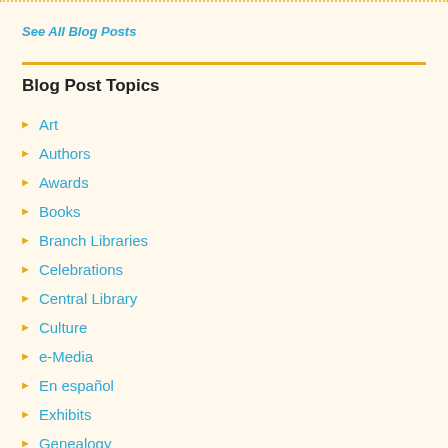See All Blog Posts
Blog Post Topics
Art
Authors
Awards
Books
Branch Libraries
Celebrations
Central Library
Culture
e-Media
En español
Exhibits
Genealogy